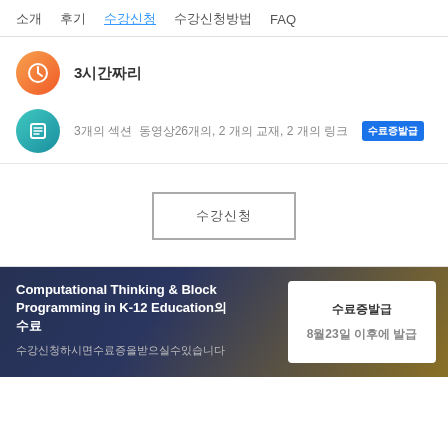소개  후기  수강신청  수강신청방법  FAQ
3시간짜리
3개의 섹션  동영상26개의, 2 개의 교재, 2 개의 링크  수료증발급
수강신청
Computational Thinking & Block Programming in K-12 Education의 수료
수강신청하시면수료증을받으실수있습니다
수료증발급
8월23일 이후에 발급